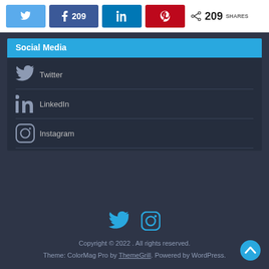[Figure (screenshot): Social share bar with Twitter, Facebook (209), LinkedIn, Pinterest buttons and total 209 SHARES count]
Social Media
Twitter
LinkedIn
Instagram
[Figure (screenshot): Footer social icons: Twitter and Instagram]
Copyright © 2022 . All rights reserved.
Theme: ColorMag Pro by ThemeGrill. Powered by WordPress.